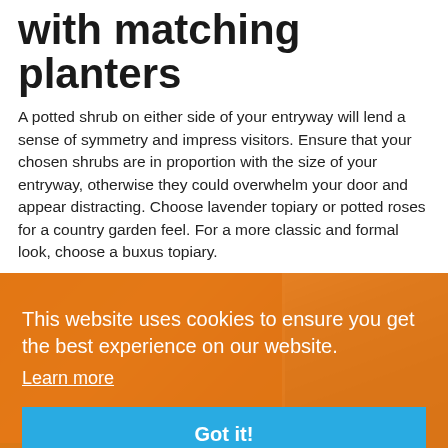with matching planters
A potted shrub on either side of your entryway will lend a sense of symmetry and impress visitors. Ensure that your chosen shrubs are in proportion with the size of your entryway, otherwise they could overwhelm your door and appear distracting. Choose lavender topiary or potted roses for a country garden feel. For a more classic and formal look, choose a buxus topiary.
[Figure (photo): Two photos of planted entryways with potted shrubs, partially obscured by a cookie consent overlay banner. Bottom strip shows additional smaller garden photos.]